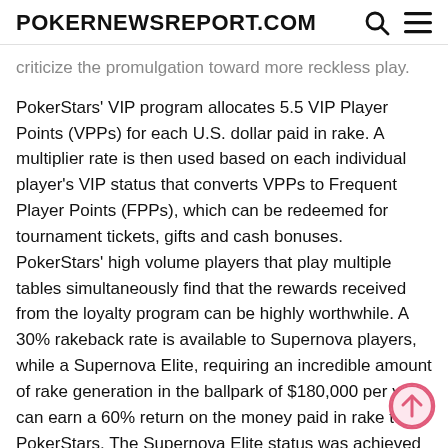POKERNEWSREPORT.COM
criticize the promulgation toward more reckless play.
PokerStars' VIP program allocates 5.5 VIP Player Points (VPPs) for each U.S. dollar paid in rake. A multiplier rate is then used based on each individual player's VIP status that converts VPPs to Frequent Player Points (FPPs), which can be redeemed for tournament tickets, gifts and cash bonuses. PokerStars' high volume players that play multiple tables simultaneously find that the rewards received from the loyalty program can be highly worthwhile. A 30% rakeback rate is available to Supernova players, while a Supernova Elite, requiring an incredible amount of rake generation in the ballpark of $180,000 per year, can earn a 60% return on the money paid in rake to PokerStars. The Supernova Elite status was achieved by